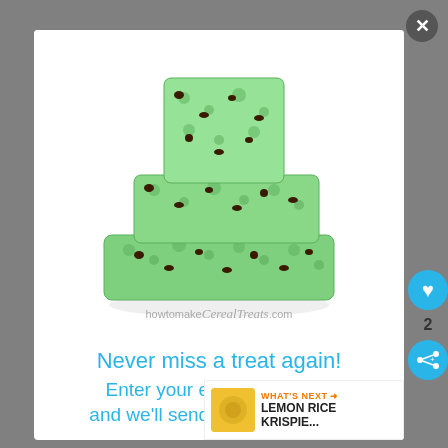[Figure (photo): Stack of mint chocolate chip rice krispie treats on a white background, with watermark text 'howtomakeCerealTreats.com']
Never miss a treat again!
Enter your email address b and we'll send you the goodies
[Figure (infographic): What's Next banner showing a lemon rice krispie treat image with text 'WHAT'S NEXT → LEMON RICE KRISPIE...']